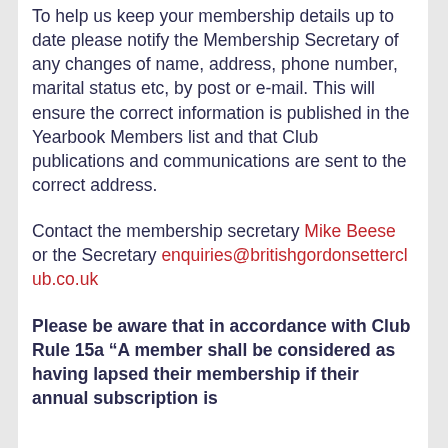To help us keep your membership details up to date please notify the Membership Secretary of any changes of name, address, phone number, marital status etc, by post or e-mail. This will ensure the correct information is published in the Yearbook Members list and that Club publications and communications are sent to the correct address.
Contact the membership secretary Mike Beese or the Secretary enquiries@britishgordonsettercl ub.co.uk
Please be aware that in accordance with Club Rule 15a “A member shall be considered as having lapsed their membership if their annual subscription is